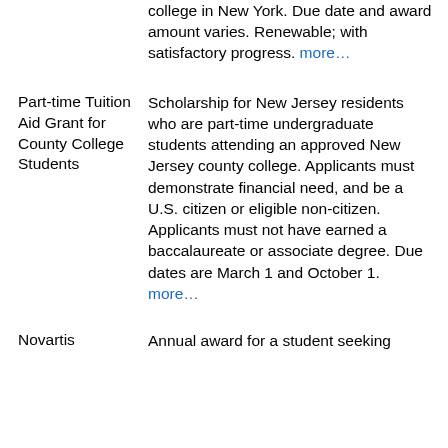college in New York. Due date and award amount varies. Renewable; with satisfactory progress. more…
Part-time Tuition Aid Grant for County College Students
Scholarship for New Jersey residents who are part-time undergraduate students attending an approved New Jersey county college. Applicants must demonstrate financial need, and be a U.S. citizen or eligible non-citizen. Applicants must not have earned a baccalaureate or associate degree. Due dates are March 1 and October 1. more…
Novartis
Annual award for a student seeking